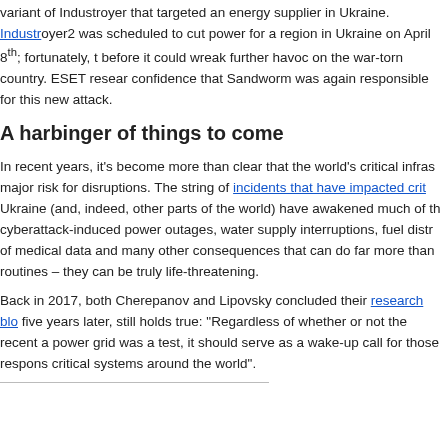variant of Industroyer that targeted an energy supplier in Ukraine. Industroyer2 was scheduled to cut power for a region in Ukraine on April 8th; fortunately, the attack was stopped before it could wreak further havoc on the war-torn country. ESET researchers stated with high confidence that Sandworm was again responsible for this new attack.
A harbinger of things to come
In recent years, it's become more than clear that the world's critical infrastructure is at major risk for disruptions. The string of incidents that have impacted critical systems in Ukraine (and, indeed, other parts of the world) have awakened much of the world to potential cyberattack-induced power outages, water supply interruptions, fuel distribution disruptions, loss of medical data and many other consequences that can do far more than merely disrupt daily routines – they can be truly life-threatening.
Back in 2017, both Cherepanov and Lipovsky concluded their research blog post with a statement that, five years later, still holds true: "Regardless of whether or not the recent attack on the Ukrainian power grid was a test, it should serve as a wake-up call for those responsible for the security of critical systems around the world".